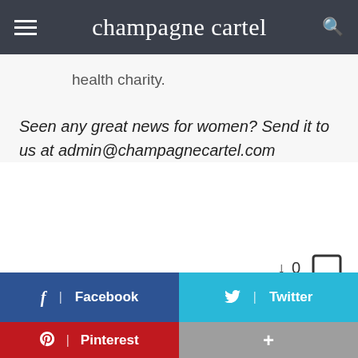champagne cartel
health charity.
Seen any great news for women? Send it to us at admin@champagnecartel.com
[Figure (infographic): Vote/comment interaction area with down arrow, count 0, and comment bubble icon]
[Figure (infographic): Social share buttons: Facebook (blue), Twitter (cyan), Pinterest (red), and a gray plus button]
Pinterest